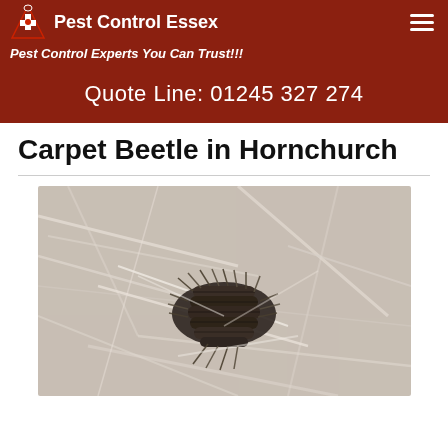Pest Control Essex
Pest Control Experts You Can Trust!!!
Quote Line: 01245 327 274
Carpet Beetle in Hornchurch
[Figure (photo): Close-up macro photograph of a carpet beetle larva (woolly bear) on white fibrous material, showing its segmented dark brown hairy body]